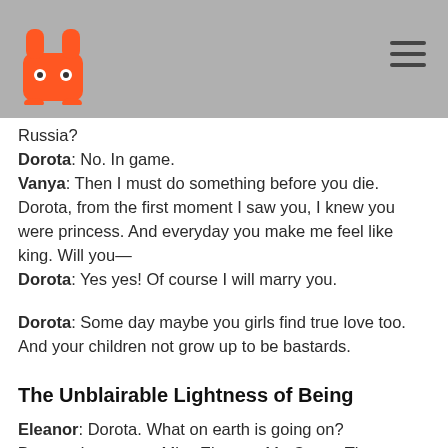Logo and navigation header
Russia?
Dorota: No. In game.
Vanya: Then I must do something before you die. Dorota, from the first moment I saw you, I knew you were princess. And everyday you make me feel like king. Will you—
Dorota: Yes yes! Of course I will marry you.
Dorota: Some day maybe you girls find true love too. And your children not grow up to be bastards.
The Unblairable Lightness of Being
Eleanor: Dorota. What on earth is going on?
Dorota: I am sorry, Miss Eleanor, Mr. Cyrus. That was my mother. She come with Father to New York on Monday.